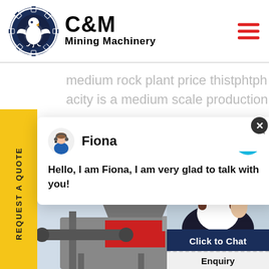[Figure (logo): C&M Mining Machinery logo with eagle gear emblem, dark navy circle gear icon on left, bold C&M text and Mining Machinery text on right]
medium rock plant price thistphtph hard rock plant acity is a medium scale production edtph stone
sher with the capacity 400 tph
[Figure (screenshot): Chat popup with avatar of Fiona, message: Hello, I am Fiona, I am very glad to talk with you!]
[Figure (photo): Mining machinery equipment and customer service agent photo with Click to Chat button and Enquiry bar]
REQUEST A QUOTE
Click to Chat
Enquiry